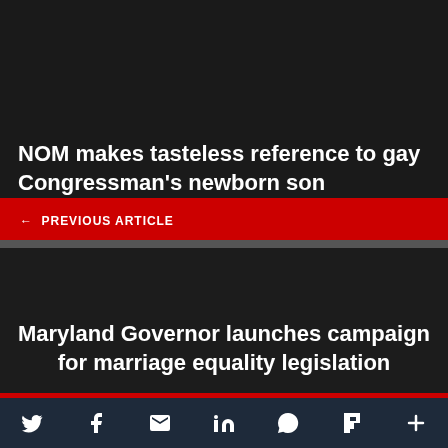NOM makes tasteless reference to gay Congressman's newborn son
← PREVIOUS ARTICLE
Maryland Governor launches campaign for marriage equality legislation
NEXT ARTICLE →
Social share bar: Twitter, Facebook, Email, LinkedIn, WhatsApp, Flipboard, More